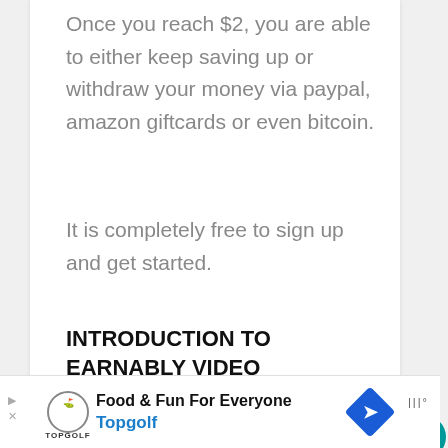Once you reach $2, you are able to either keep saving up or withdraw your money via paypal, amazon giftcards or even bitcoin.
It is completely free to sign up and get started.
INTRODUCTION TO EARNABLY VIDEO
[Figure (screenshot): Video thumbnail showing Introduction to Earnably video with teal circle logo with letter e and blue bar at bottom reading 'Introduction to Ea...']
[Figure (other): Advertisement banner for Topgolf: Food & Fun For Everyone with Topgolf logo and blue arrow icon]